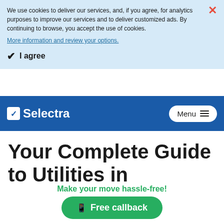We use cookies to deliver our services, and, if you agree, for analytics purposes to improve our services and to deliver customized ads. By continuing to browse, you accept the use of cookies.
More information and review your options.
I agree
Selectra  Menu
Your Complete Guide to Utilities in Eastwood
If you just moved and have some questions
Make your move hassle-free!
Free callback